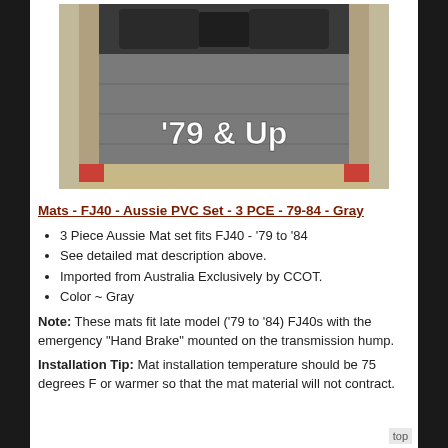[Figure (photo): Interior photo of a Toyota FJ40 showing gray PVC floor mats laid flat in the cargo area, with text overlay '79 & Up' in white letters on the lower portion of the image.]
Mats - FJ40 - Aussie PVC Set - 3 PCE - 79-84 - Gray
3 Piece Aussie Mat set fits FJ40 - '79 to '84
See detailed mat description above.
Imported from Australia Exclusively by CCOT.
Color ~ Gray
Note: These mats fit late model ('79 to '84) FJ40s with the emergency "Hand Brake" mounted on the transmission hump.
Installation Tip: Mat installation temperature should be 75 degrees F or warmer so that the mat material will not contract.